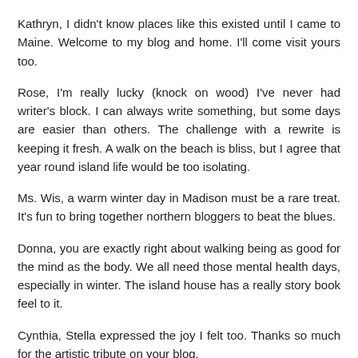Kathryn, I didn't know places like this existed until I came to Maine. Welcome to my blog and home. I'll come visit yours too.
Rose, I'm really lucky (knock on wood) I've never had writer's block. I can always write something, but some days are easier than others. The challenge with a rewrite is keeping it fresh. A walk on the beach is bliss, but I agree that year round island life would be too isolating.
Ms. Wis, a warm winter day in Madison must be a rare treat. It's fun to bring together northern bloggers to beat the blues.
Donna, you are exactly right about walking being as good for the mind as the body. We all need those mental health days, especially in winter. The island house has a really story book feel to it.
Cynthia, Stella expressed the joy I felt too. Thanks so much for the artistic tribute on your blog.